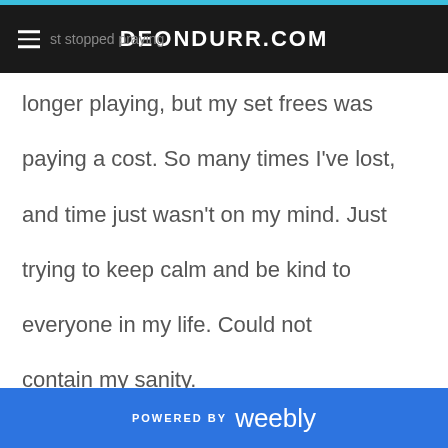DEONDURR.COM
longer playing, but my set frees was

paying a cost. So many times I've lost,

and time just wasn't on my mind. Just

trying to keep calm and be kind to

everyone in my life. Could not

contain my sanity.
POWERED BY weebly